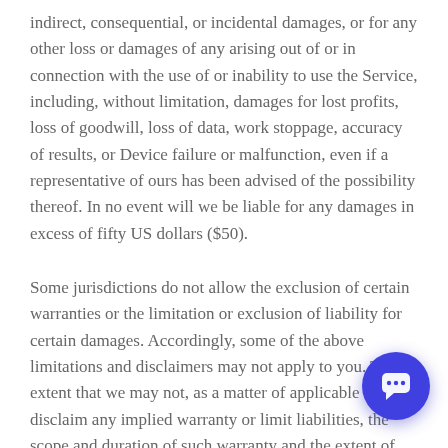indirect, consequential, or incidental damages, or for any other loss or damages of any arising out of or in connection with the use of or inability to use the Service, including, without limitation, damages for lost profits, loss of goodwill, loss of data, work stoppage, accuracy of results, or Device failure or malfunction, even if a representative of ours has been advised of the possibility thereof. In no event will we be liable for any damages in excess of fifty US dollars ($50).
Some jurisdictions do not allow the exclusion of certain warranties or the limitation or exclusion of liability for certain damages. Accordingly, some of the above limitations and disclaimers may not apply to you. To the extent that we may not, as a matter of applicable law, disclaim any implied warranty or limit liabilities, the scope and duration of such warranty and the extent of our liability will be the minimum permitted under such applicable law.
13. Indemnification